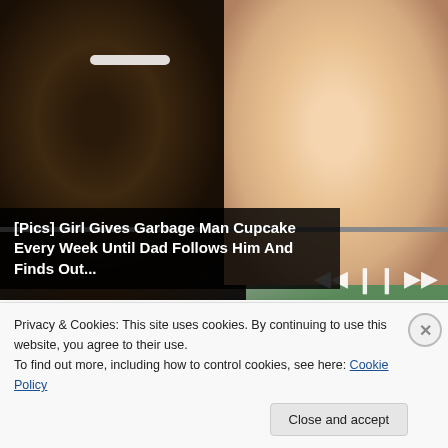[Figure (photo): A man with a beard smiling with a young toddler, both facing the camera. The photo appears to be a screenshot from a video player with playback controls visible.]
[Pics] Girl Gives Garbage Man Cupcake Every Week Until Dad Follows Him And Finds Out...
[Figure (photo): Thumbnail image of a person with gray/silver hair.]
Totally Uncool Fashion Trends
Privacy & Cookies: This site uses cookies. By continuing to use this website, you agree to their use.
To find out more, including how to control cookies, see here: Cookie Policy
Close and accept